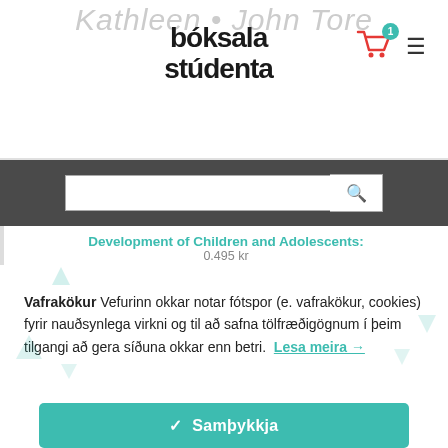[Figure (screenshot): Bóksala stúdenta website header with logo, cart icon with badge showing 1, and hamburger menu icon]
[Figure (screenshot): Dark grey search bar with text input and magnifying glass search button]
Development of Children and Adolescents:
Vafrakökur Vefurinn okkar notar fótspor (e. vafrakökur, cookies) fyrir nauðsynlega virkni og til að safna tölfræðigögnum í þeim tilgangi að gera síðuna okkar enn betri. Lesa meira →
✓ Samþykkja
Change Settings ⚙